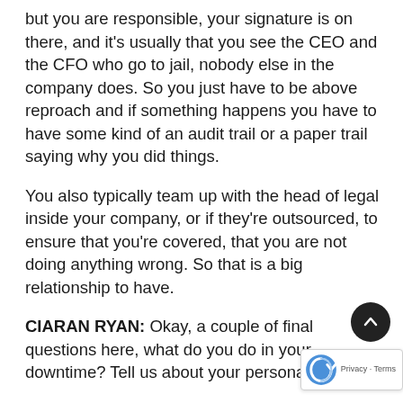but you are responsible, your signature is on there, and it's usually that you see the CEO and the CFO who go to jail, nobody else in the company does. So you just have to be above reproach and if something happens you have to have some kind of an audit trail or a paper trail saying why you did things.
You also typically team up with the head of legal inside your company, or if they're outsourced, to ensure that you're covered, that you are not doing anything wrong. So that is a big relationship to have.
CIARAN RYAN: Okay, a couple of final questions here, what do you do in your downtime? Tell us about your personal